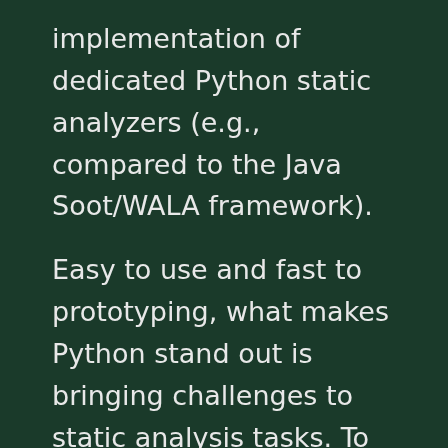implementation of dedicated Python static analyzers (e.g., compared to the Java Soot/WALA framework).
Easy to use and fast to prototyping, what makes Python stand out is bringing challenges to static analysis tasks. To fill this gap, we design and implement Scalpel ↗ (A Python Static Analysis Framework) and make it publicly available as an open-source project. The Scalpel framework has already integrated a number of fundamental static analysis functions (e.g., call graph constructions, control-flow graph constructions, alias analysis, etc.) that are ready to be reused by developers